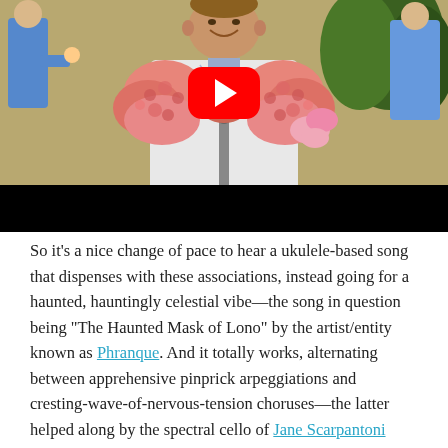[Figure (screenshot): YouTube video thumbnail showing a man in a floral/patterned white jacket wearing large pink/coral flower leis around his neck, speaking at a microphone. Other people visible in the background. A red YouTube play button overlay is centered on the image. The bottom portion of the video player is black.]
So it's a nice change of pace to hear a ukulele-based song that dispenses with these associations, instead going for a haunted, hauntingly celestial vibe—the song in question being "The Haunted Mask of Lono" by the artist/entity known as Phranque. And it totally works, alternating between apprehensive pinprick arpeggiations and cresting-wave-of-nervous-tension choruses—the latter helped along by the spectral cello of Jane Scarpantoni (who makes all manner of